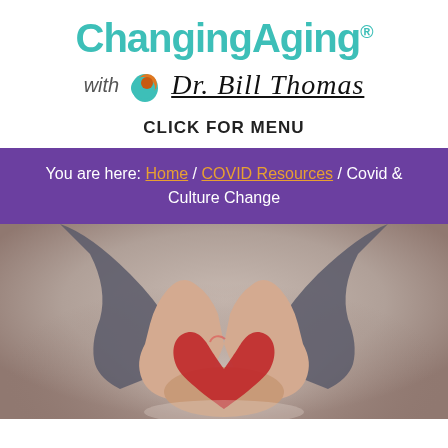ChangingAging®
with Dr. Bill Thomas
CLICK FOR MENU
You are here: Home / COVID Resources / Covid & Culture Change
[Figure (photo): Two hands cupping a red heart, held outward against a blurred grey-brown background]